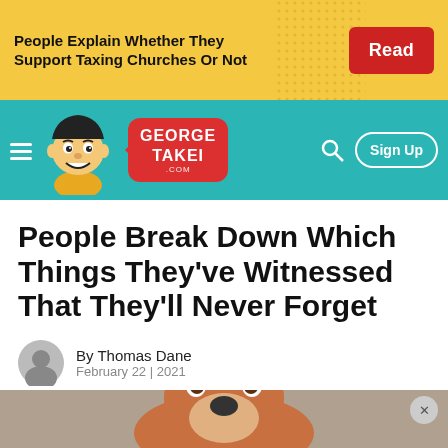People Explain Whether They Support Taxing Churches Or Not | Read
[Figure (screenshot): GeorgeTakei.com website navigation bar with cartoon mascot of George Takei, red speech bubble logo, teal background, search icon, and Sign Up button]
People Break Down Which Things They've Witnessed That They'll Never Forget
By Thomas Dane
February 22 | 2021
[Figure (photo): Photo of a dog looking up against a dark background, partially visible at the bottom of the page]